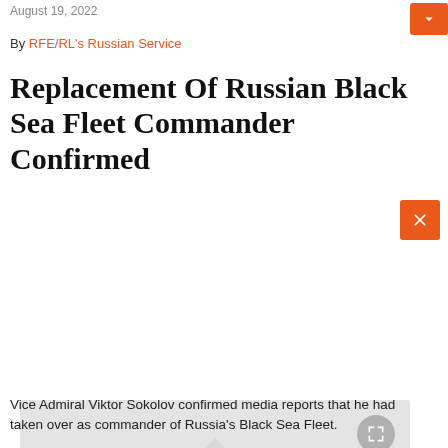August 19, 2022
By RFE/RL's Russian Service
Replacement Of Russian Black Sea Fleet Commander Confirmed
[Figure (photo): Gray placeholder image with RFE/RL watermark logo and an expand/fullscreen button in the top right corner. An orange X button is visible on the right edge.]
Vice Admiral Viktor Sokolov confirmed media reports that he had taken over as commander of Russia's Black Sea Fleet.